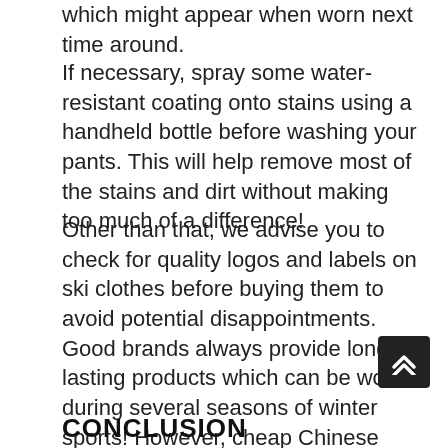which might appear when worn next time around.
If necessary, spray some water-resistant coating onto stains using a handheld bottle before washing your pants. This will help remove most of the stains and dirt without making too much of a difference!
Other than that, we advise you to check for quality logos and labels on ski clothes before buying them to avoid potential disappointments. Good brands always provide long-lasting products which can be worn during several seasons of winter sports! However, cheap Chinese clothing is just as good as expensive Western brands so do not worry about trying out cheaper options if you're looking to save some money.
CONCLUSION